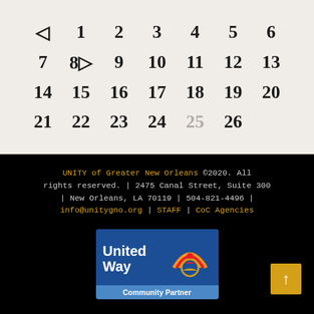◁ 1 2 3 4 5 6 7 8 ▷ — Calendar pagination row 1
9 10 11 12 13 14 — Calendar pagination row 2
15 16 17 18 19 20 — Calendar pagination row 3
21 22 23 24 25 26 — Calendar pagination row 4
UNITY of Greater New Orleans ©2020. All rights reserved. | 2475 Canal Street, Suite 300 | New Orleans, LA 70119 | 504-821-4496 | info@unitygno.org | STAFF | CoC Agencies
[Figure (logo): United Way Community Partner logo with blue background, 'United Way' text in white, rainbow/hands icon, and 'Community Partner' label]